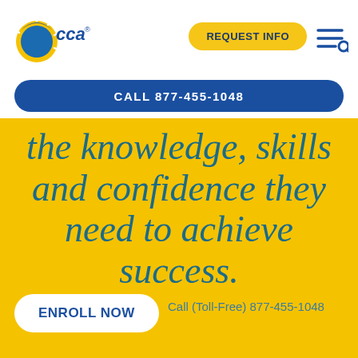[Figure (logo): CCA logo with blue and yellow sun/globe icon and text 'cca']
REQUEST INFO
[Figure (other): Hamburger menu icon with search]
CALL 877-455-1048
the knowledge, skills and confidence they need to achieve success.
ENROLL NOW
Call (Toll-Free) 877-455-1048